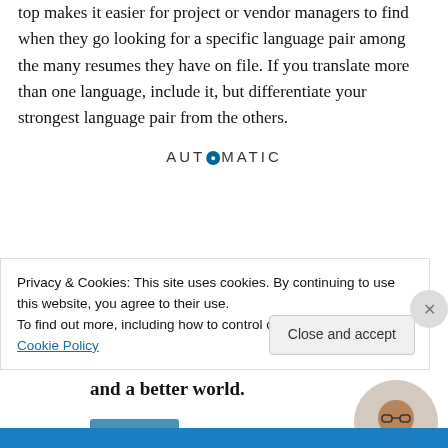top makes it easier for project or vendor managers to find when they go looking for a specific language pair among the many resumes they have on file. If you translate more than one language, include it, but differentiate your strongest language pair from the others.
[Figure (logo): Automattic logo with circular icon replacing the letter O]
[Figure (infographic): Automattic advertisement: 'Build a better web and a better world.' with an Apply button and a photo of a person thinking]
Privacy & Cookies: This site uses cookies. By continuing to use this website, you agree to their use.
To find out more, including how to control cookies, see here: Cookie Policy
Close and accept